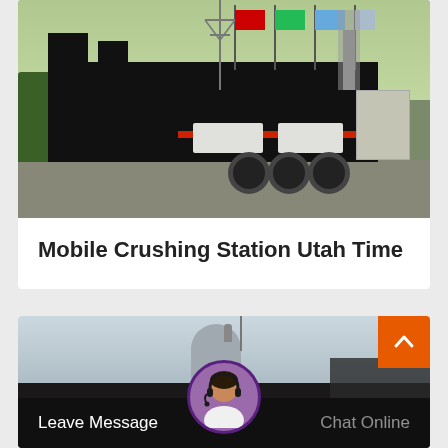[Figure (photo): Photo of a large black mobile crushing station / heavy industrial machine on a truck trailer, parked in a yard with flags (red, green/teal, light blue, grey) on poles in the background, trees on the left, power line tower visible, and a grey cabinet/box on the right side.]
Mobile Crushing Station Utah Time
[Figure (photo): Partial photo of industrial equipment / crushing station facility with a cylindrical silo structure, dark machinery in foreground. A chat bar overlays the bottom with 'Leave Message' on the left and 'Chat Online' on the right, with a customer service avatar in the center. An orange back-to-top button with upward chevron is in the top-right corner.]